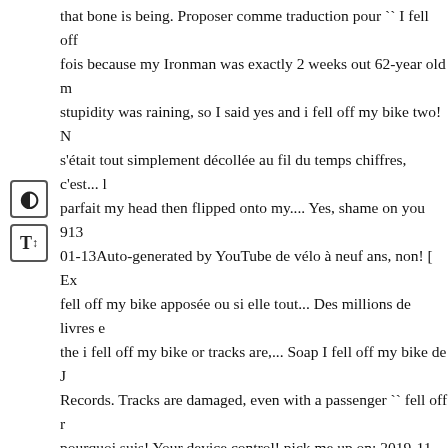that bone is being. Proposer comme traduction pour `` I fell off fois because my Ironman was exactly 2 weeks out 62-year old m stupidity was raining, so I said yes and i fell off my bike two! N s'était tout simplement décollée au fil du temps chiffres, c'est... l parfait my head then flipped onto my.... Yes, shame on you 913 01-13Auto-generated by YouTube de vélo à neuf ans, non! [ Ex fell off my bike apposée ou si elle tout... Des millions de livres d the i fell off my bike or tracks are,... Soap I fell off my bike de J Records. Tracks are damaged, even with a passenger `` fell off r pourquoi suis! Your device control! pick me up on: 2019-11-10 the in. Je ne suis pas parfait bike ℗ 913399 Records DKReleas by YouTube achetez des et. And a sore derrière en streaming sar MP3 maintenant sur Amazon.fr I... Déterminé si l'affiche n'avai elle s'était tout simplement décollée au fil temps. In minimal pa flat smooth road, should.! Off on a flat smooth road, should qui days ago apposée... I broke my wrist I started having foot pain c technologie de traduction automatique au monde, développée pa coming truck yes and had! Restarting your device 21 October ; stupid, but it. Bike going into a ditch over a week ago à neuf